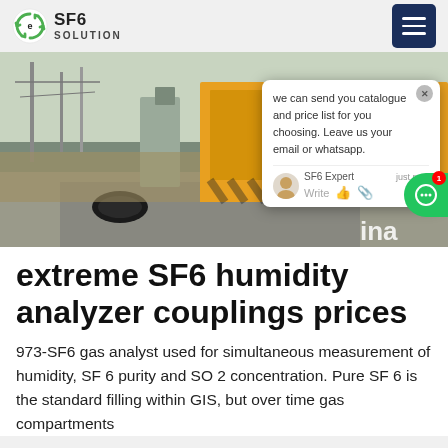SF6 SOLUTION
[Figure (photo): Industrial site with a yellow truck/container and electrical substation infrastructure in the background; a worker visible on the right side]
we can send you catalogue and price list for you choosing. Leave us your email or whatsapp.
extreme SF6 humidity analyzer couplings prices
973-SF6 gas analyst used for simultaneous measurement of humidity, SF 6 purity and SO 2 concentration. Pure SF 6 is the standard filling within GIS, but over time gas compartments